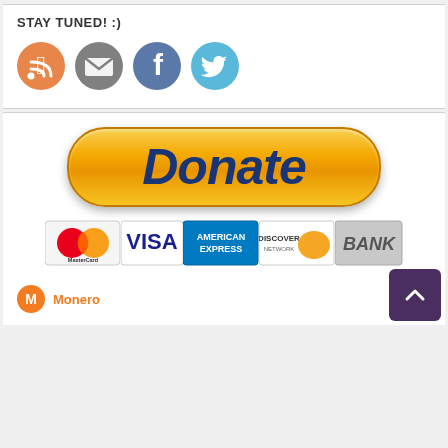STAY TUNED! :)
[Figure (infographic): Four social media icons in circles: RSS (orange), Email (gray), Facebook (blue), Twitter (light blue)]
[Figure (illustration): PayPal Donate button - large golden/yellow rounded rectangle button with italic bold dark blue text 'Donate', below it payment method logos: MasterCard, VISA, American Express, Discover Network, BANK]
[Figure (logo): Monero cryptocurrency logo (orange circle with M) and text 'Monero']